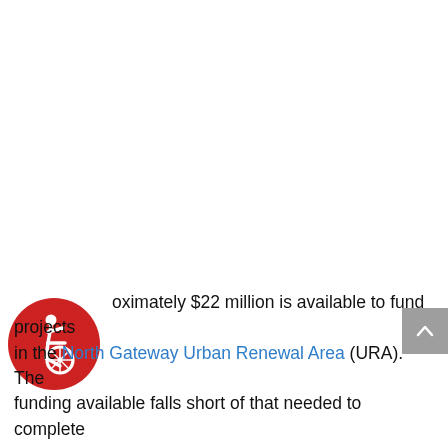[Figure (logo): Red circular accessibility icon with white wheelchair user symbol in dynamic pose]
…oximately $22 million is available to fund projects in the North Gateway Urban Renewal Area (URA). The funding available falls short of that needed to complete…